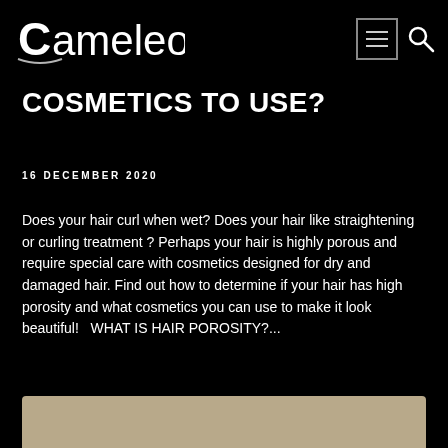Cameleo
COSMETICS TO USE?
16 DECEMBER 2020
Does your hair curl when wet? Does your hair like straightening or curling treatment ? Perhaps your hair is highly porous and require special care with cosmetics designed for dry and damaged hair. Find out how to determine if your hair has high porosity and what cosmetics you can use to make it look beautiful!   WHAT IS HAIR POROSITY?...
[Figure (photo): Partial view of a person with hair, background image at the bottom of the page]